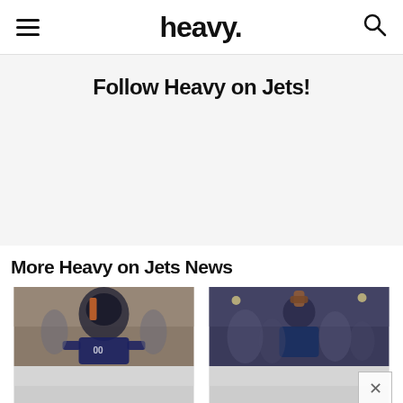heavy.
Follow Heavy on Jets!
More Heavy on Jets News
[Figure (photo): Football player in Chicago Bears helmet and uniform]
[Figure (photo): Football player with fist raised in celebration]